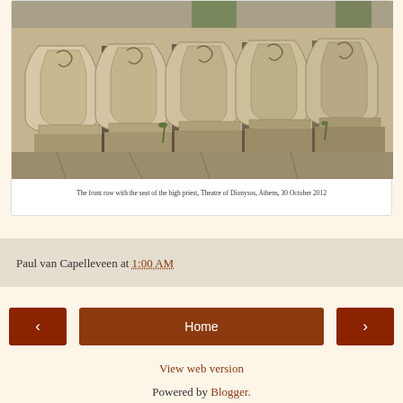[Figure (photo): Photo of ancient stone theatre seats in a row, with carved decorative fronts, at the Theatre of Dionysos, Athens. Taken 30 October 2012.]
The front row with the seat of the high priest, Theatre of Dionysos, Athens, 30 October 2012
Paul van Capelleveen at 1:00 AM
Home
View web version
Powered by Blogger.